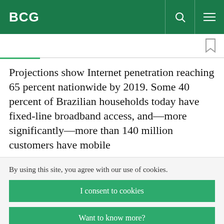BCG
Projections show Internet penetration reaching 65 percent nationwide by 2019. Some 40 percent of Brazilian households today have fixed-line broadband access, and—more significantly—more than 140 million customers have mobile
By using this site, you agree with our use of cookies.
I consent to cookies
Want to know more?
Read our Cookie Policy